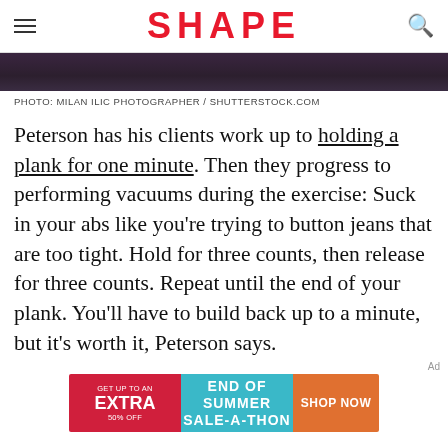SHAPE
[Figure (photo): Dark/blurred photo strip at top of article]
PHOTO: MILAN ILIC PHOTOGRAPHER / SHUTTERSTOCK.COM
Peterson has his clients work up to holding a plank for one minute. Then they progress to performing vacuums during the exercise: Suck in your abs like you're trying to button jeans that are too tight. Hold for three counts, then release for three counts. Repeat until the end of your plank. You'll have to build back up to a minute, but it's worth it, Peterson says.
[Figure (infographic): Advertisement banner: GET UP TO AN EXTRA 50% OFF | END OF SUMMER SALE-A-THON | SHOP NOW]